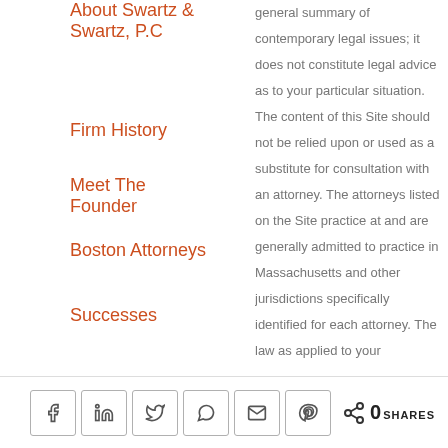About Swartz & Swartz, P.C
Firm History
Meet The Founder
Boston Attorneys
Successes
RESOURCES
Blog
Hablas Espanol
general summary of contemporary legal issues; it does not constitute legal advice as to your particular situation. The content of this Site should not be relied upon or used as a substitute for consultation with an attorney. The attorneys listed on the Site practice at and are generally admitted to practice in Massachusetts and other jurisdictions specifically identified for each attorney. The law as applied to your
Social share icons: Facebook, LinkedIn, Twitter, WhatsApp, Email, Pinterest | 0 SHARES